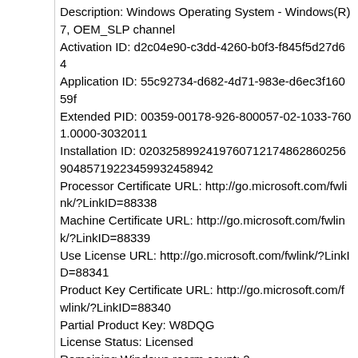Description: Windows Operating System - Windows(R) 7, OEM_SLP channel
Activation ID: d2c04e90-c3dd-4260-b0f3-f845f5d27d64
Application ID: 55c92734-d682-4d71-983e-d6ec3f16059f
Extended PID: 00359-00178-926-800057-02-1033-7601.0000-3032011
Installation ID: 02032589924197607121748628602569048571922345993245894 2
Processor Certificate URL: http://go.microsoft.com/fwlink/?LinkID=88338
Machine Certificate URL: http://go.microsoft.com/fwlink/?LinkID=88339
Use License URL: http://go.microsoft.com/fwlink/?LinkID=88341
Product Key Certificate URL: http://go.microsoft.com/fwlink/?LinkID=88340
Partial Product Key: W8DQG
License Status: Licensed
Remaining Windows rearm count: 2
Trusted time: 10/9/2015 7:38:02 PM